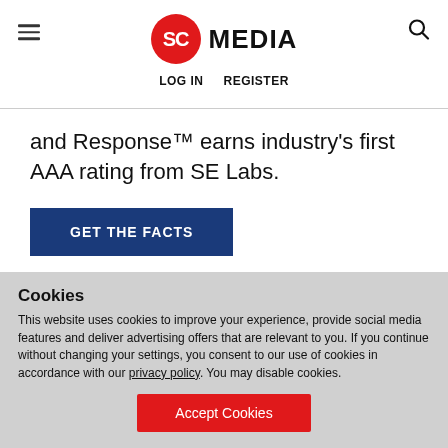SC MEDIA | LOG IN  REGISTER
and Response™ earns industry's first AAA rating from SE Labs.
GET THE FACTS
Cookies
This website uses cookies to improve your experience, provide social media features and deliver advertising offers that are relevant to you. If you continue without changing your settings, you consent to our use of cookies in accordance with our privacy policy. You may disable cookies.
Accept Cookies